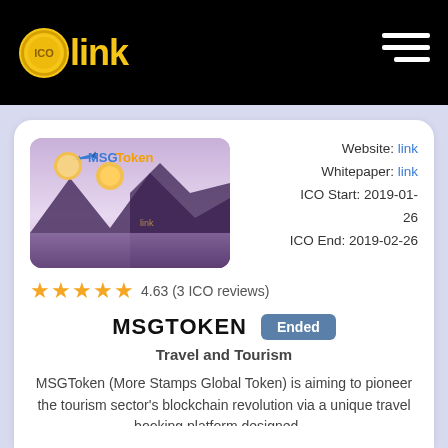[Figure (logo): ICO link logo with gold coin and yellow text on black header background]
[Figure (illustration): MSGToken promotional image showing mountains, sea, sunrise, airplane, and MSGToken text]
Website: link
Whitepaper: link
ICO Start: 2019-01-26
ICO End: 2019-02-26
★★★★★ 4.63 (3 ICO reviews)
MSGTOKEN
Ended
Travel and Tourism
MSGToken (More Stamps Global Token) is aiming to pioneer the tourism sector's blockchain revolution via a unique travel booking platform designed ...